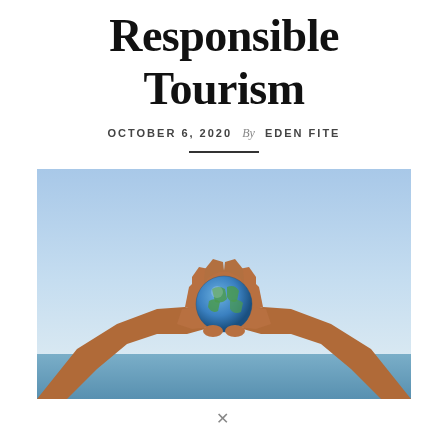Responsible Tourism
OCTOBER 6, 2020 By EDEN FITE
[Figure (photo): Two hands forming a heart shape holding a small globe, against a light blue sky background.]